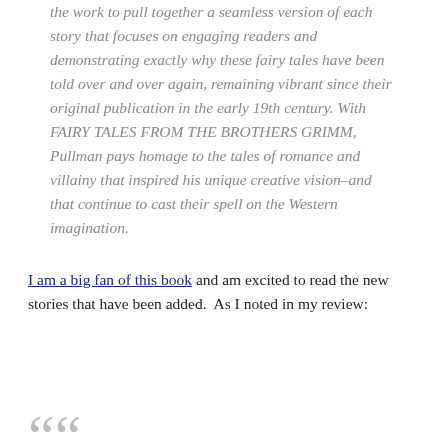the work to pull together a seamless version of each story that focuses on engaging readers and demonstrating exactly why these fairy tales have been told over and over again, remaining vibrant since their original publication in the early 19th century. With FAIRY TALES FROM THE BROTHERS GRIMM, Pullman pays homage to the tales of romance and villainy that inspired his unique creative vision–and that continue to cast their spell on the Western imagination.
I am a big fan of this book and am excited to read the new stories that have been added.  As I noted in my review: